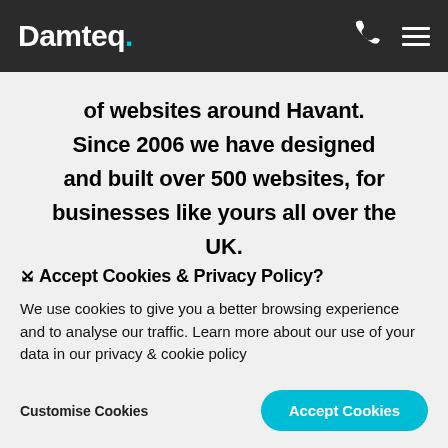Damteq.
of websites around Havant. Since 2006 we have designed and built over 500 websites, for businesses like yours all over the UK.
⨉ Accept Cookies & Privacy Policy?
We use cookies to give you a better browsing experience and to analyse our traffic. Learn more about our use of your data in our privacy & cookie policy
Customise Cookies | Accept Cookies